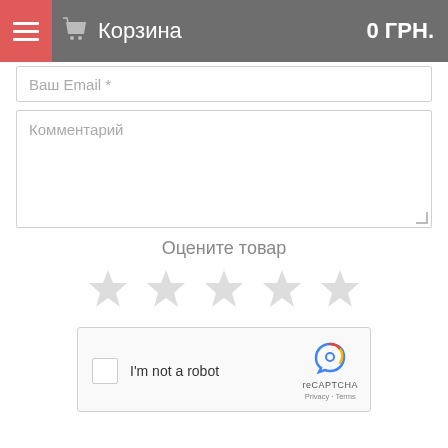Корзина 0 ГРН.
Ваш Email *
Комментарий
Оцените товар
[Figure (other): Five empty star rating icons in a row]
[Figure (other): reCAPTCHA widget with checkbox and 'I'm not a robot' text]